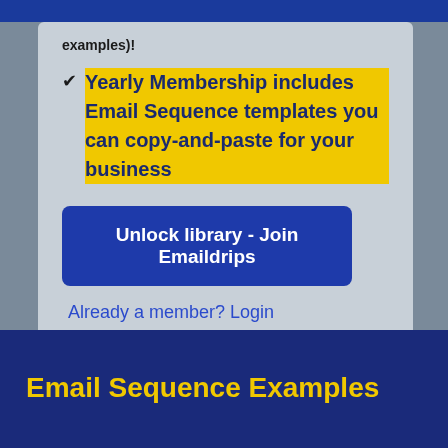examples)!
✔ Yearly Membership includes Email Sequence templates you can copy-and-paste for your business
Unlock library - Join Emaildrips
Already a member? Login
Email Sequence Examples